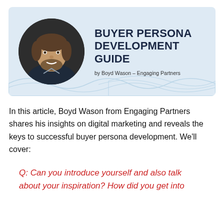[Figure (illustration): Header banner with light blue background, circular portrait photo of Boyd Wason (smiling man with beard), title 'BUYER PERSONA DEVELOPMENT GUIDE' in dark navy bold text, byline 'by Boyd Wason – Engaging Partners', decorative wave lines at bottom]
In this article, Boyd Wason from Engaging Partners shares his insights on digital marketing and reveals the keys to successful buyer persona development. We'll cover:
Q: Can you introduce yourself and also talk about your inspiration? How did you get into